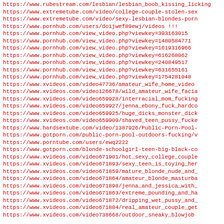https://www.rubestream.com/lesbian/lesbian_boob_kissing_licking
https://www.extremetube.com/video/college-couple-stolen-sex
https://www.extremetube.com/video/sexy-lesbian-blondes-porn
https://www.pornhub.com/users/doijwef89ewj/videos !!!
https://www.pornhub.com/view_video.php?viewkey=393163015
https://www.pornhub.com/view_video.php?viewkey=1480584771
https://www.pornhub.com/view_video.php?viewkey=1619316966
https://www.pornhub.com/view_video.php?viewkey=616268062
https://www.pornhub.com/view_video.php?viewkey=240849517
https://www.pornhub.com/view_video.php?viewkey=631655161
https://www.pornhub.com/view_video.php?viewkey=1754281048
https://www.xvideos.com/video47736/amateur_wife_home_video
https://www.xvideos.com/video126678/wild_amateur_wife_facia
https://www.xvideos.com/video659928/interracial_mom_fucking
https://www.xvideos.com/video659927/jenna_ebony_fuck_hardco
https://www.xvideos.com/video659925/huge_dicks_monster_dick
https://www.xvideos.com/video659909/shaved_teen_pussy_fucke
https://www.hardsextube.com/video/1387926/Public-Porn-Pool-
https://www.gotporn.com/public-porn-pool-outdoors-fucking/v
https://www.porntube.com/users/ewq2222
https://www.gotporn.com/blonde-schoolgirl-teen-big-black-co
https://www.xvideos.com/video671901/hot_sexy_college_couple
https://www.xvideos.com/video671893/sexy_teen_is_toying_her
https://www.xvideos.com/video671859/mature_blonde_nude_and_
https://www.xvideos.com/video671864/amateur_blonde_masturba
https://www.xvideos.com/video671898/jenna_and_jessica_with_
https://www.xvideos.com/video671863/extreme_pounding_and_ha
https://www.xvideos.com/video671872/dripping_wet_pussy_and_
https://www.xvideos.com/video671884/real_amateur_couple_get
https://www.xvideos.com/video738668/outdoor_sneaky_blowjob